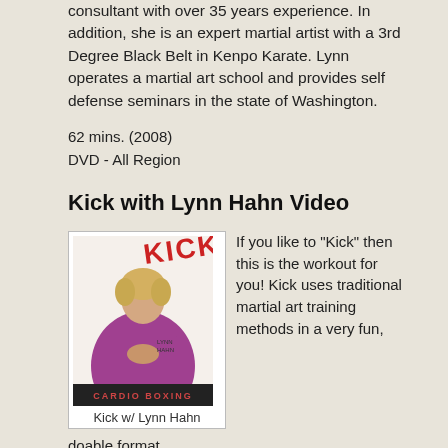consultant with over 35 years experience. In addition, she is an expert martial artist with a 3rd Degree Black Belt in Kenpo Karate. Lynn operates a martial art school and provides self defense seminars in the state of Washington.
62 mins. (2008)
DVD - All Region
Kick with Lynn Hahn Video
[Figure (photo): DVD cover for 'Kick' featuring Lynn Hahn in a purple top with hands in prayer position, with the word KICK in red stylized text and subtitle Cardio Boxing]
Kick w/ Lynn Hahn
If you like to "Kick" then this is the workout for you! Kick uses traditional martial art training methods in a very fun, doable format.